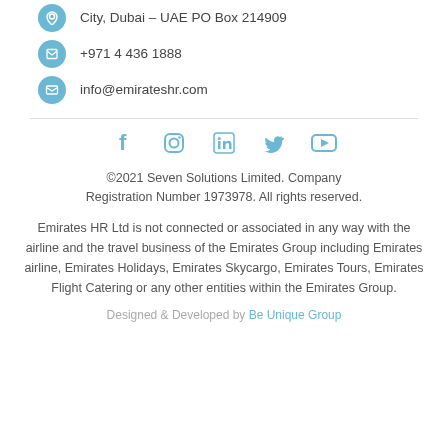City, Dubai – UAE PO Box 214909
+971 4 436 1888
info@emirateshr.com
[Figure (infographic): Social media icons row: Facebook, Instagram, LinkedIn, Twitter, YouTube — all in light blue]
©2021 Seven Solutions Limited. Company Registration Number 1973978. All rights reserved.
Emirates HR Ltd is not connected or associated in any way with the airline and the travel business of the Emirates Group including Emirates airline, Emirates Holidays, Emirates Skycargo, Emirates Tours, Emirates Flight Catering or any other entities within the Emirates Group.
Designed & Developed by Be Unique Group